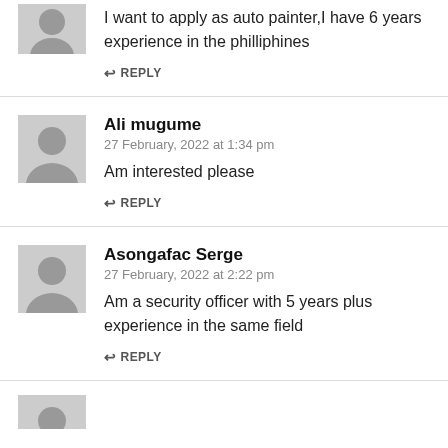I want to apply as auto painter,I have 6 years experience in the philliphines
↩ REPLY
Ali mugume
27 February, 2022 at 1:34 pm
Am interested please
↩ REPLY
Asongafac Serge
27 February, 2022 at 2:22 pm
Am a security officer with 5 years plus experience in the same field
↩ REPLY